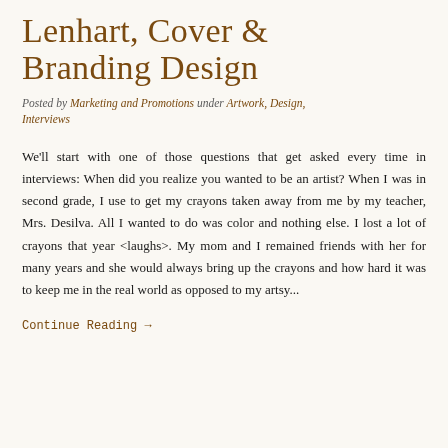Lenhart, Cover & Branding Design
Posted by Marketing and Promotions under Artwork, Design, Interviews
We'll start with one of those questions that get asked every time in interviews: When did you realize you wanted to be an artist? When I was in second grade, I use to get my crayons taken away from me by my teacher, Mrs. Desilva. All I wanted to do was color and nothing else. I lost a lot of crayons that year <laughs>. My mom and I remained friends with her for many years and she would always bring up the crayons and how hard it was to keep me in the real world as opposed to my artsy...
Continue Reading →